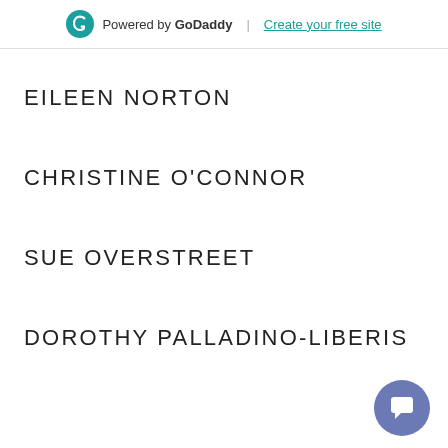Powered by GoDaddy | Create your free site
EILEEN NORTON
CHRISTINE O'CONNOR
SUE OVERSTREET
DOROTHY PALLADINO-LIBERIS